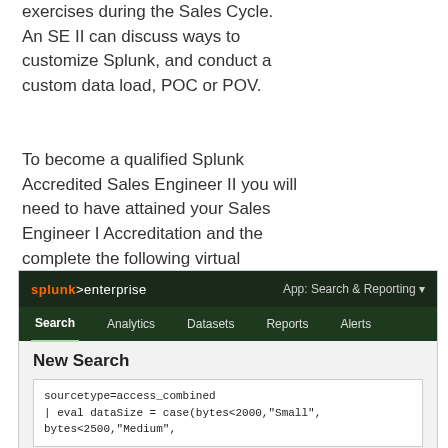exercises during the Sales Cycle. An SE II can discuss ways to customize Splunk, and conduct a custom data load, POC or POV.
To become a qualified Splunk Accredited Sales Engineer II you will need to have attained your Sales Engineer I Accreditation and the complete the following virtual instructor led courses.
[Figure (screenshot): Screenshot of Splunk Enterprise interface showing the navigation bar with Search, Analytics, Datasets, Reports, Alerts tabs and a New Search panel with a search query: sourcetype=access_combined | eval dataSize = case(bytes<2000,'Small', bytes<2500,'Medium',]